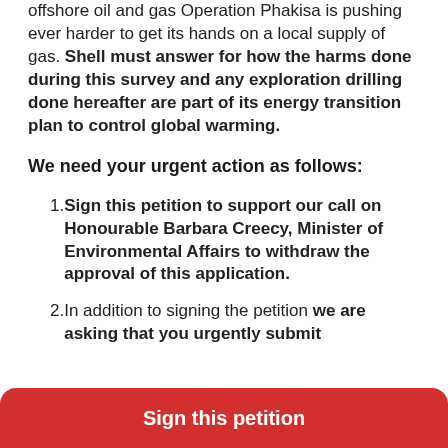offshore oil and gas Operation Phakisa is pushing ever harder to get its hands on a local supply of gas. Shell must answer for how the harms done during this survey and any exploration drilling done hereafter are part of its energy transition plan to control global warming.
We need your urgent action as follows:
Sign this petition to support our call on Honourable Barbara Creecy, Minister of Environmental Affairs to withdraw the approval of this application.
In addition to signing the petition we are asking that you urgently submit
Sign this petition